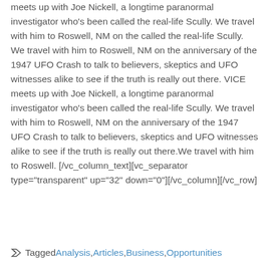meets up with Joe Nickell, a longtime paranormal investigator who's been called the real-life Scully. We travel with him to Roswell, NM on the called the real-life Scully. We travel with him to Roswell, NM on the anniversary of the 1947 UFO Crash to talk to believers, skeptics and UFO witnesses alike to see if the truth is really out there. VICE meets up with Joe Nickell, a longtime paranormal investigator who's been called the real-life Scully. We travel with him to Roswell, NM on the anniversary of the 1947 UFO Crash to talk to believers, skeptics and UFO witnesses alike to see if the truth is really out there.We travel with him to Roswell. [/vc_column_text][vc_separator type="transparent" up="32" down="0"][/vc_column][/vc_row]
Tagged Analysis, Articles, Business, Opportunities